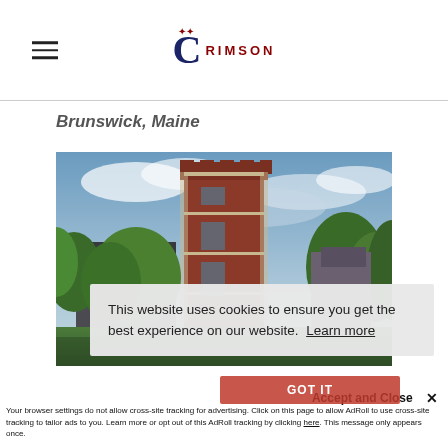CRIMSON
Brunswick, Maine
[Figure (photo): Red brick gothic-style university building with a tall tower, surrounded by green trees, under a cloudy blue sky.]
This website uses cookies to ensure you get the best experience on our website. Learn more
Accept and Close ✕
Your browser settings do not allow cross-site tracking for advertising. Click on this page to allow AdRoll to use cross-site tracking to tailor ads to you. Learn more or opt out of this AdRoll tracking by clicking here. This message only appears once.